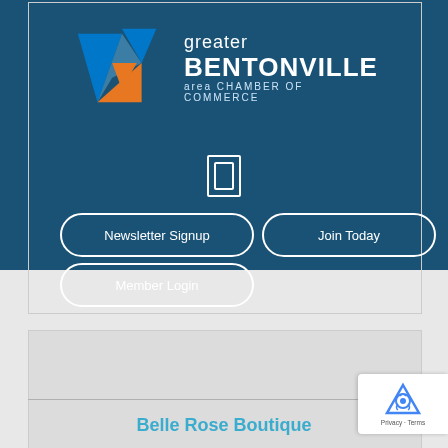[Figure (logo): Greater Bentonville Area Chamber of Commerce logo with geometric arrow shapes in blue and orange]
[Figure (other): Search/menu icon in white outline on dark blue background]
Newsletter Signup
Join Today
Member Login
Belle Rose Boutique
[Figure (other): reCAPTCHA privacy badge in bottom right corner]